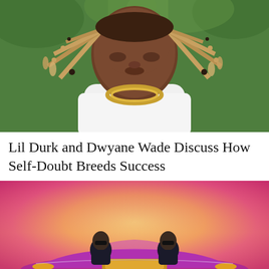[Figure (photo): A young Black man with long braided hair adorned with beads and shells, wearing a white turtleneck sweater and a large gold chain necklace, looking downward. Green foliage in the background.]
Lil Durk and Dwyane Wade Discuss How Self-Doubt Breeds Success
[Figure (photo): Two figures in dark clothing standing on top of a pink/purple vintage car against a warm pink-to-yellow gradient background.]